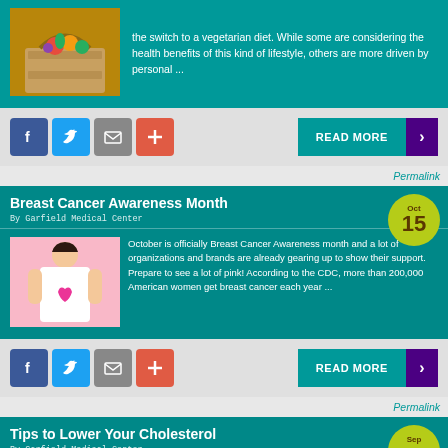[Figure (photo): Basket of vegetables/fruits photo]
the switch to a vegetarian diet. While some are considering the health benefits of this kind of lifestyle, others are more driven by personal ...
[Figure (infographic): Social share buttons: Facebook, Twitter, Email, Plus; and READ MORE button]
Permalink
Breast Cancer Awareness Month
By Garfield Medical Center
[Figure (photo): Illustration of woman with pink ribbon breast cancer awareness]
October is officially Breast Cancer Awareness month and a lot of organizations and brands are already gearing up to show their support. Prepare to see a lot of pink! According to the CDC, more than 200,000 American women get breast cancer each year ...
[Figure (infographic): Social share buttons: Facebook, Twitter, Email, Plus; and READ MORE button]
Permalink
Tips to Lower Your Cholesterol
By Garfield Medical Center
[Figure (photo): Photo of lemons and dairy/cholesterol foods]
A person with high cholesterol levels has twice the risk of heart diseases, which can lead to heart attack or stroke. Most often, high cholesterol is a result of unhealthy lifestyle choices. A doctor may prescribe